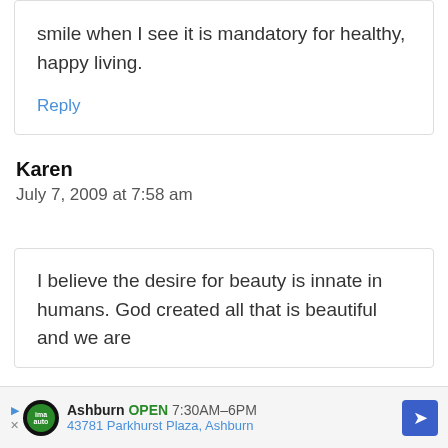smile when I see it is mandatory for healthy, happy living.
Reply
Karen
July 7, 2009 at 7:58 am
I believe the desire for beauty is innate in humans. God created all that is beautiful and we are
Ashburn OPEN 7:30AM–6PM 43781 Parkhurst Plaza, Ashburn